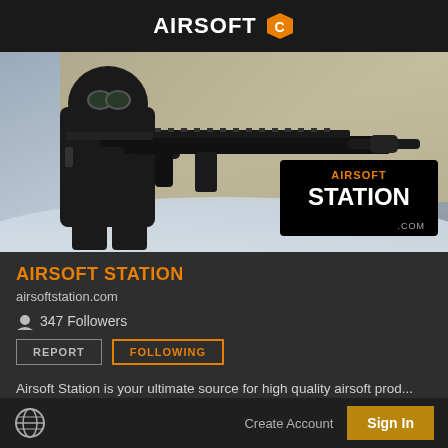AIRSOFT [logo]
[Figure (photo): Person in all-black tactical gear with mask and hood aiming an airsoft rifle, in a snowy outdoor setting. Airsoft Station .com logo overlay in bottom right corner.]
AIRSOFT STATION
airsoftstation.com
347 Followers
REPORT   FOLLOWING
Airsoft Station is your ultimate source for high quality airsoft prod...
Create Account   Sign In